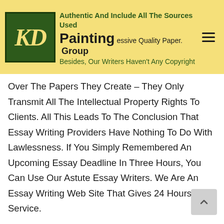KD Painting Group — Authentic And Include All The Sources Used — essive Quality Paper. Besides, Our Writers Haven't Any Copyright
Over The Papers They Create – They Only Transmit All The Intellectual Property Rights To Clients. All This Leads To The Conclusion That Essay Writing Providers Have Nothing To Do With Lawlessness. If You Simply Remembered An Upcoming Essay Deadline In Three Hours, You Can Use Our Astute Essay Writers. We Are An Essay Writing Web Site That Gives 24 Hours Service.

They Are Sometimes Compared With Informative Essays It Offers A Clear Expository Essay Defin… When You Purchase Essay On Our Web Site, We Revie Your Request And